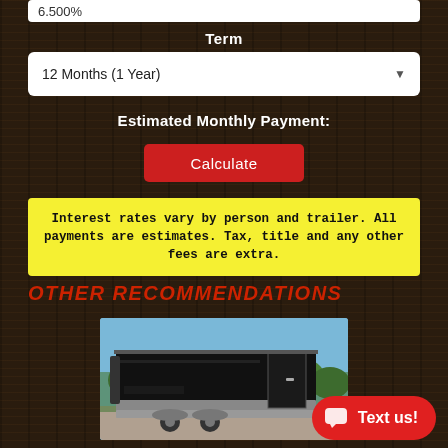6.500%
Term
12 Months (1 Year)
Estimated Monthly Payment:
Calculate
Interest rates vary by person and trailer. All payments are estimates. Tax, title and any other fees are extra.
OTHER RECOMMENDATIONS
[Figure (photo): Black enclosed cargo trailer with silver trim, dual axle, parked on gravel with trees in background]
Text us!